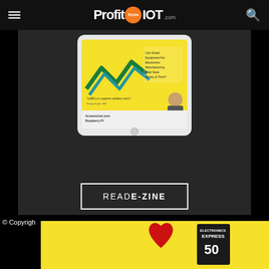ProfitfromIOT.com
[Figure (screenshot): Tablet device showing a magazine/e-zine website with yellow zigzag design and Raspberry Pi accessories advertisement]
READ E-ZINE
© Copyrigh...
[Figure (photo): Yellow advertisement banner with red heart and Electronics Express magazine cover]